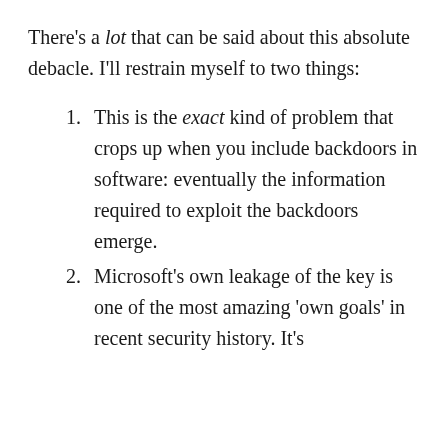There's a lot that can be said about this absolute debacle. I'll restrain myself to two things:
This is the exact kind of problem that crops up when you include backdoors in software: eventually the information required to exploit the backdoors emerge.
Microsoft's own leakage of the key is one of the most amazing 'own goals' in recent security history. It's